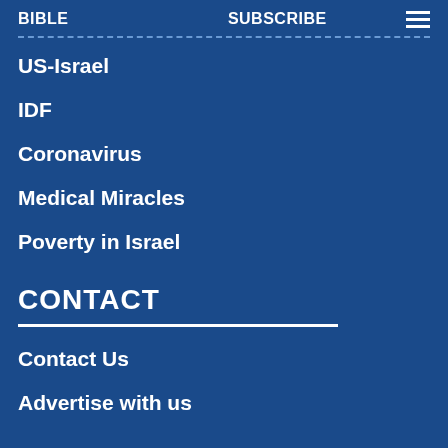BIBLE   SUBSCRIBE   ≡
US-Israel
IDF
Coronavirus
Medical Miracles
Poverty in Israel
CONTACT
Contact Us
Advertise with us